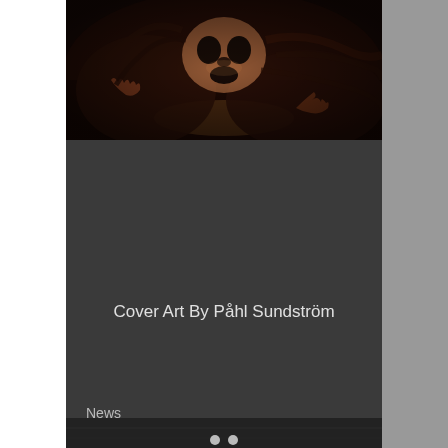[Figure (illustration): Dark fantasy horror illustration showing a creature with skull-like face and long hair emerging from dark water, with outstretched clawed hands, in dark reddish-brown tones]
Cover Art By Påhl Sundström
News
[Figure (infographic): Social share icons row: Facebook (f), Twitter/X bird, LinkedIn (in), and link/chain icon]
[Figure (infographic): Comment/speech bubble icon below a horizontal divider line]
[Figure (photo): Bottom partial image strip in dark tones, with two grey pagination dots below]